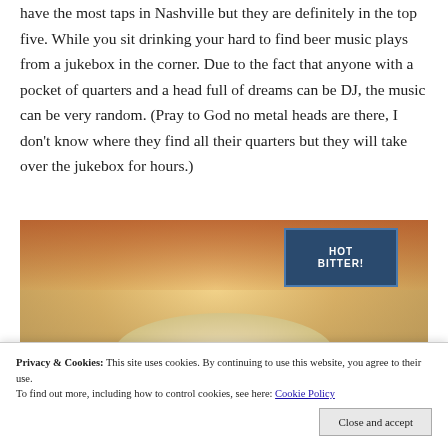have the most taps in Nashville but they are definitely in the top five. While you sit drinking your hard to find beer music plays from a jukebox in the corner. Due to the fact that anyone with a pocket of quarters and a head full of dreams can be DJ, the music can be very random. (Pray to God no metal heads are there, I don't know where they find all their quarters but they will take over the jukebox for hours.)
[Figure (photo): A close-up photo of a beer glass with foam head, with a blue bar sign partially visible in the background.]
Privacy & Cookies: This site uses cookies. By continuing to use this website, you agree to their use. To find out more, including how to control cookies, see here: Cookie Policy